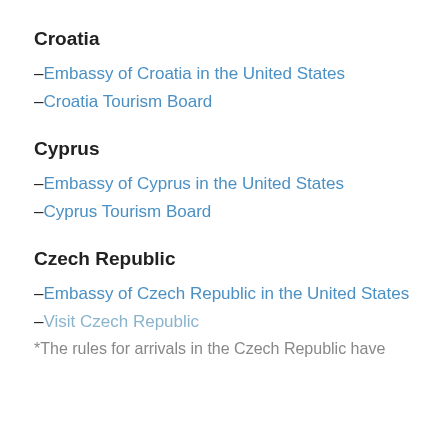Croatia
–Embassy of Croatia in the United States
–Croatia Tourism Board
Cyprus
–Embassy of Cyprus in the United States
–Cyprus Tourism Board
Czech Republic
–Embassy of Czech Republic in the United States
–Visit Czech Republic
*The rules for arrivals in the Czech Republic have